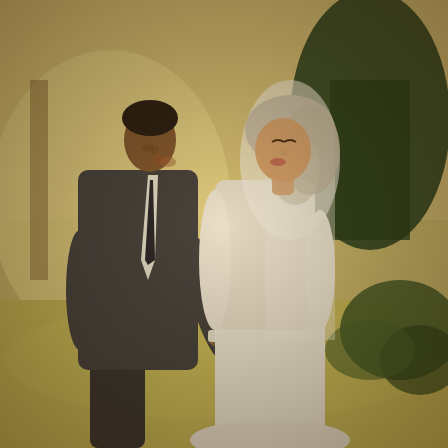[Figure (photo): Wedding photo of a couple kissing outdoors. The groom is on the left wearing a dark charcoal suit with a white dress shirt and dark tie. The bride is on the right wearing a long-sleeved lace bodice wedding gown with a veil and silver-blonde hair styled up. They are embracing and kissing. The background shows green trees, grass with warm golden/sepia tones, and garden scenery to the right.]